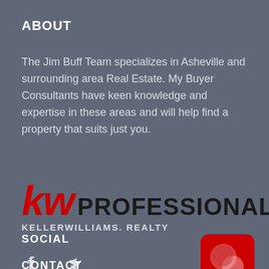ABOUT
The Jim Buff Team specializes in Asheville and surrounding area Real Estate. My Buyer Consultants have keen knowledge and expertise in these areas and will help find a property that suits just you.
[Figure (logo): Keller Williams Professionals logo — 'kw' in red italic letters followed by 'PROFESSIONALS' in bold dark text, with 'KELLERWILLIAMS. REALTY' beneath]
SOCIAL
[Figure (logo): KW red app icon with two speech bubble shapes]
CONTACT